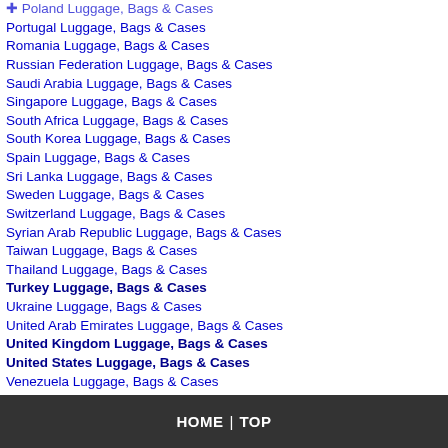Poland Luggage, Bags & Cases
Portugal Luggage, Bags & Cases
Romania Luggage, Bags & Cases
Russian Federation Luggage, Bags & Cases
Saudi Arabia Luggage, Bags & Cases
Singapore Luggage, Bags & Cases
South Africa Luggage, Bags & Cases
South Korea Luggage, Bags & Cases
Spain Luggage, Bags & Cases
Sri Lanka Luggage, Bags & Cases
Sweden Luggage, Bags & Cases
Switzerland Luggage, Bags & Cases
Syrian Arab Republic Luggage, Bags & Cases
Taiwan Luggage, Bags & Cases
Thailand Luggage, Bags & Cases
Turkey Luggage, Bags & Cases
Ukraine Luggage, Bags & Cases
United Arab Emirates Luggage, Bags & Cases
United Kingdom Luggage, Bags & Cases
United States Luggage, Bags & Cases
Venezuela Luggage, Bags & Cases
Vietnam Luggage, Bags & Cases
Yugoslavia Luggage, Bags & Cases
HOME | TOP